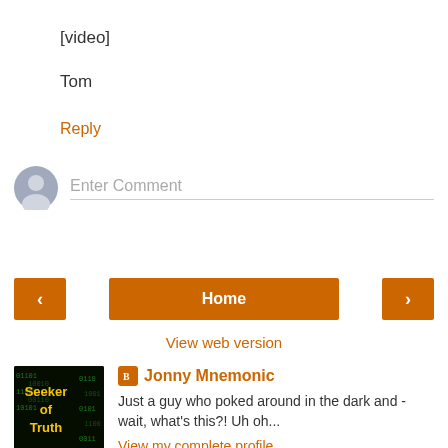[video]
Tom
Reply
Enter Comment
Home
View web version
Jonny Mnemonic
Just a guy who poked around in the dark and - wait, what's this?! Uh oh...
View my complete profile